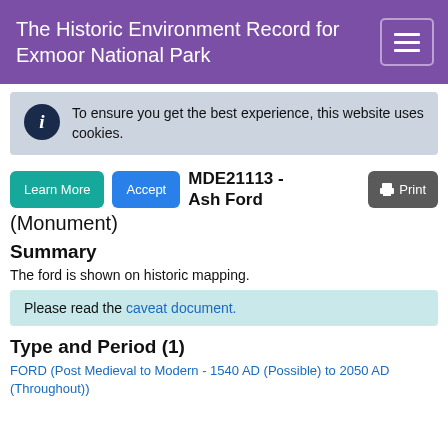The Historic Environment Record for Exmoor National Park
To ensure you get the best experience, this website uses cookies.
MDE21113 - Ash Ford (Monument)
Summary
The ford is shown on historic mapping.
Please read the caveat document.
Type and Period (1)
FORD (Post Medieval to Modern - 1540 AD (Possible) to 2050 AD (Throughout))